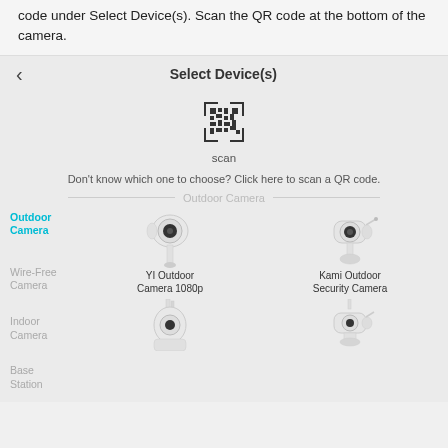code under Select Device(s). Scan the QR code at the bottom of the camera.
[Figure (screenshot): Mobile app screen showing 'Select Device(s)' navigation bar with a QR code scan icon and 'scan' label, followed by a hint text 'Don't know which one to choose? Click here to scan a QR code.', then an Outdoor Camera section with YI Outdoor Camera 1080p and Kami Outdoor Security Camera images, and a sidebar with Outdoor Camera (active/cyan), Wire-Free Camera, Indoor Camera, Base Station options, and two more camera images partially visible at the bottom.]